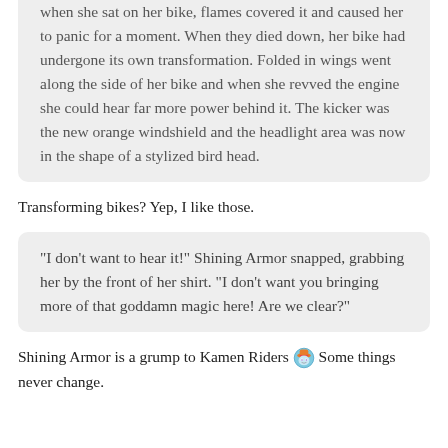when she sat on her bike, flames covered it and caused her to panic for a moment. When they died down, her bike had undergone its own transformation. Folded in wings went along the side of her bike and when she revved the engine she could hear far more power behind it. The kicker was the new orange windshield and the headlight area was now in the shape of a stylized bird head.
Transforming bikes? Yep, I like those.
“I don’t want to hear it!” Shining Armor snapped, grabbing her by the front of her shirt. “I don’t want you bringing more of that goddamn magic here! Are we clear?”
Shining Armor is a grump to Kamen Riders 🎠 Some things never change.